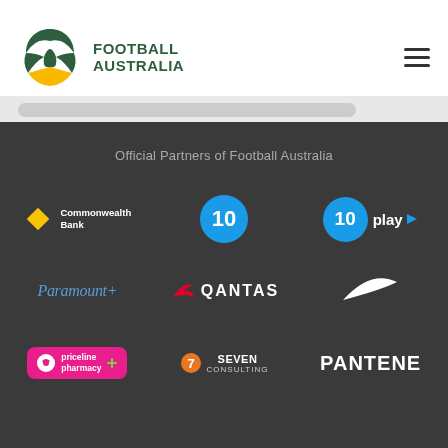[Figure (logo): Football Australia logo: green and gold circular emblem with stylized football, text reads FOOTBALL AUSTRALIA]
Official Partners of Football Australia
[Figure (logo): Commonwealth Bank logo: yellow diamond shape with text Commonwealth Bank]
[Figure (logo): Channel 10 logo: blue circle with number 10]
[Figure (logo): 10 play logo: blue circle with 10 and text play with arrow]
[Figure (logo): Paramount+ logo in blue italic cursive style]
[Figure (logo): Qantas logo: red kangaroo and QANTAS text]
[Figure (logo): Nike swoosh logo in white]
[Figure (logo): Priceline Pharmacy logo on pink/magenta badge]
[Figure (logo): Seven Consulting logo with orange 7 and text]
[Figure (logo): Pantene logo in white bold text]